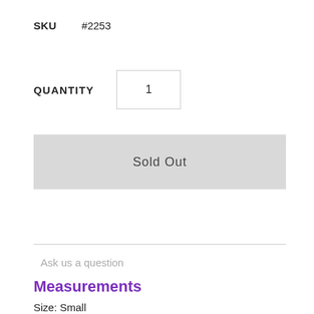SKU   #2253
QUANTITY   1
Sold Out
Ask us a question
Measurements
Size: Small